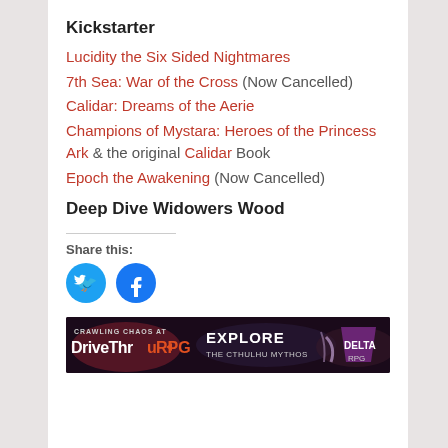Kickstarter
Lucidity the Six Sided Nightmares
7th Sea: War of the Cross (Now Cancelled)
Calidar: Dreams of the Aerie
Champions of Mystara: Heroes of the Princess Ark & the original Calidar Book
Epoch the Awakening (Now Cancelled)
Deep Dive Widowers Wood
Share this:
[Figure (logo): Twitter and Facebook social share icon buttons (circular blue icons)]
[Figure (illustration): DriveThruRPG banner ad: Crawling Chaos at DriveThruRPG - Explore the Cthulhu Mythos]